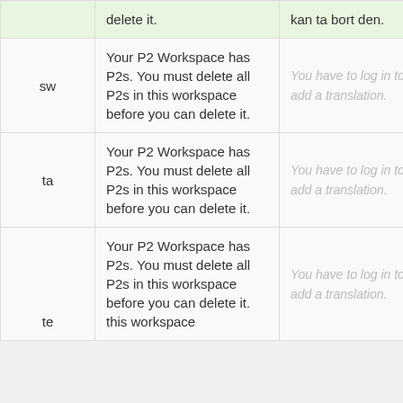|  | English | Translation |  |
| --- | --- | --- | --- |
|  | delete it. | kan ta bort den. |  |
| sw | Your P2 Workspace has P2s. You must delete all P2s in this workspace before you can delete it. | You have to log in to add a translation. | Details |
| ta | Your P2 Workspace has P2s. You must delete all P2s in this workspace before you can delete it. | You have to log in to add a translation. | Details |
| te | Your P2 Workspace has P2s. You must delete all P2s in this workspace before you can delete it (partial). | You have to log in to add a translation. | Details |